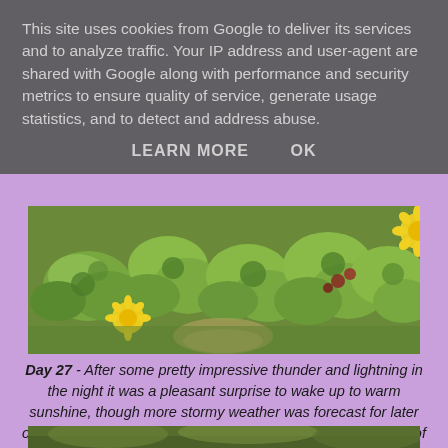This site uses cookies from Google to deliver its services and to analyze traffic. Your IP address and user-agent are shared with Google along with performance and security metrics to ensure quality of service, generate usage statistics, and to detect and address abuse.
LEARN MORE    OK
[Figure (photo): Close-up photo of green succulent plants with small yellow daisy-like flowers in bright sunlight]
Day 27 - After some pretty impressive thunder and lightning in the night it was a pleasant surprise to wake up to warm sunshine, though more stormy weather was forecast for later on. It was lovely and quiet in the garden, with only the sound of the birds to be heard. The little yellow daisy like flowers on the succulents were wide open catching the rays of the sun, so I grabbed the camera and made the most of the moment.
[Figure (photo): Partial view of another garden photo at the bottom of the page]